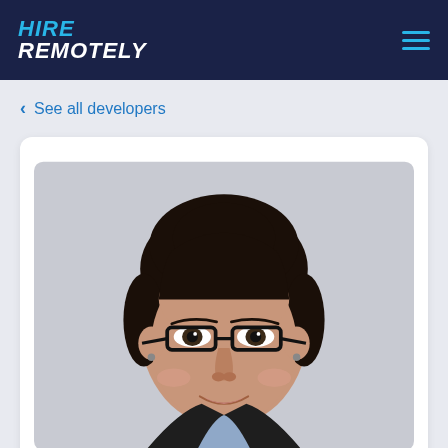HIRE REMOTELY
< See all developers
[Figure (photo): Professional headshot of a woman with dark hair pulled back, wearing black-rimmed glasses, small earrings, and a dark blazer over a light blue shirt. She is smiling slightly against a light grey background.]